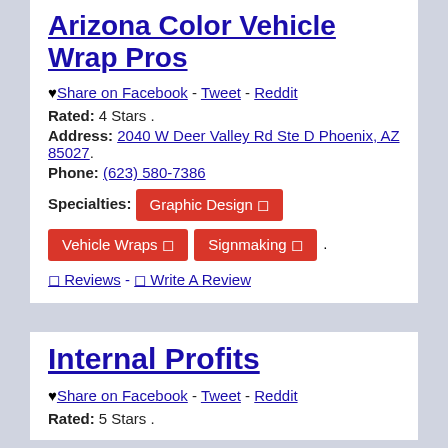Arizona Color Vehicle Wrap Pros
♥ Share on Facebook - Tweet - Reddit
Rated: 4 Stars .
Address: 2040 W Deer Valley Rd Ste D Phoenix, AZ 85027.
Phone: (623) 580-7386
Specialties: Graphic Design  Vehicle Wraps  Signmaking .
0 Reviews - 0 Write A Review
Internal Profits
♥ Share on Facebook - Tweet - Reddit
Rated: 5 Stars .